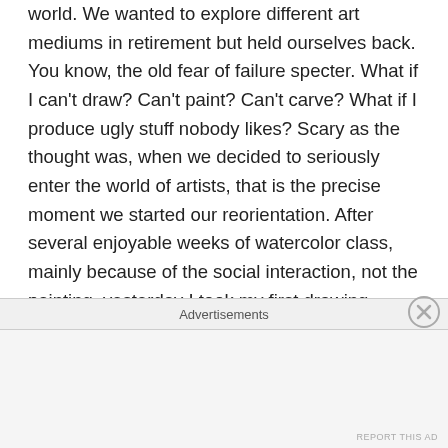world. We wanted to explore different art mediums in retirement but held ourselves back. You know, the old fear of failure specter. What if I can't draw? Can't paint? Can't carve? What if I produce ugly stuff nobody likes? Scary as the thought was, when we decided to seriously enter the world of artists, that is the precise moment we started our reorientation. After several enjoyable weeks of watercolor class, mainly because of the social interaction, not the painting, yesterday I took my first drawing class. Don't even think it…I already know I put the cart before the horse. Anyway, my drawing instructor told our class, “After today's class, if anyone asks you what you do, you tell them, you’re an artist”. He went on to tell us how he wanted us to start thinking of ourselves as artists. Think it
Advertisements